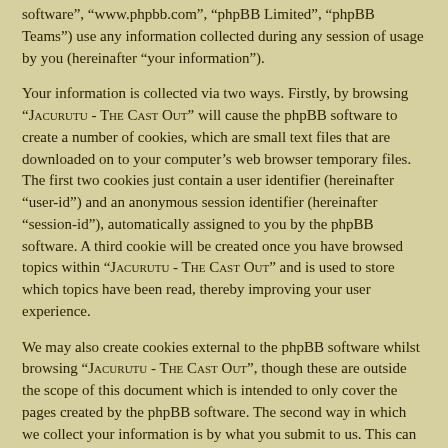software", "www.phpbb.com", "phpBB Limited", "phpBB Teams") use any information collected during any session of usage by you (hereinafter "your information").
Your information is collected via two ways. Firstly, by browsing "Jacurutu - The Cast Out" will cause the phpBB software to create a number of cookies, which are small text files that are downloaded on to your computer's web browser temporary files. The first two cookies just contain a user identifier (hereinafter "user-id") and an anonymous session identifier (hereinafter "session-id"), automatically assigned to you by the phpBB software. A third cookie will be created once you have browsed topics within "Jacurutu - The Cast Out" and is used to store which topics have been read, thereby improving your user experience.
We may also create cookies external to the phpBB software whilst browsing "Jacurutu - The Cast Out", though these are outside the scope of this document which is intended to only cover the pages created by the phpBB software. The second way in which we collect your information is by what you submit to us. This can be, and is not limited to: posting as an anonymous user (hereinafter "anonymous posts"), registering on "Jacurutu - The Cast Out" (hereinafter "your account") and posts submitted by you after registration and whilst logged in (hereinafter "your posts").
Your account will at a bare minimum contain a uniquely identifiable name (hereinafter "your user name"), a personal password used for logging into your account (hereinafter "your password") and a personal, valid email address